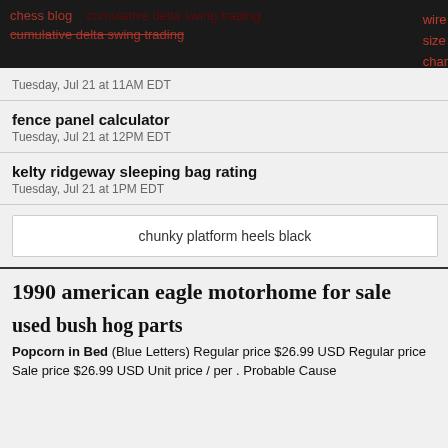chess blog | cumulative delta swing trading | wire size char
Tuesday, Jul 21 at 11AM EDT
wire
size
char
fence panel calculator
Tuesday, Jul 21 at 12PM EDT
kelty ridgeway sleeping bag rating
Tuesday, Jul 21 at 1PM EDT
chunky platform heels black
1990 american eagle motorhome for sale
used bush hog parts
Popcorn in Bed (Blue Letters) Regular price $26.99 USD Regular price Sale price $26.99 USD Unit price / per . Probable Cause